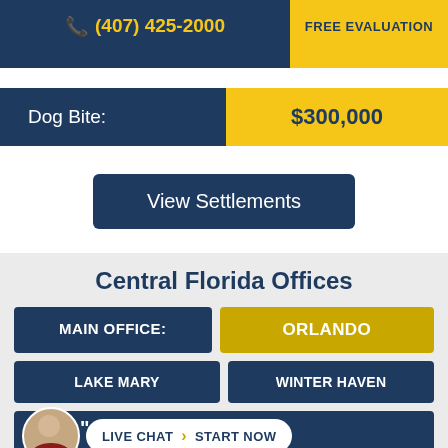(407) 425-2000 | FREE EVALUATION
| Case Type | Settlement |
| --- | --- |
| Dog Bite: | $300,000 |
View Settlements
Central Florida Offices
MAIN OFFICE: ORLANDO
LAKE MARY | WINTER HAVEN
LIVE CHAT › START NOW